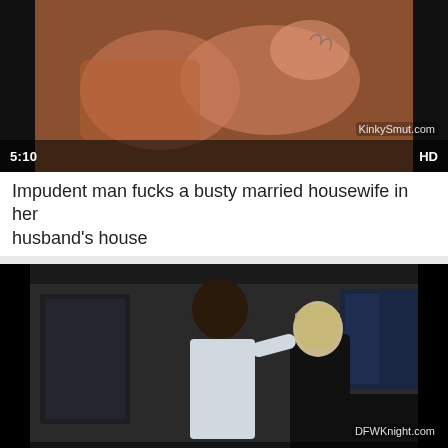[Figure (screenshot): Video thumbnail showing adult content, duration 5:10, HD, watermark KinkySmut.com]
Impudent man fucks a busty married housewife in her husband's house
[Figure (screenshot): Video thumbnail showing two people in a room, duration 23:13, HD, watermark DFWKnight.com]
...t...wife t... ch... bb... j... r... ch... bl...